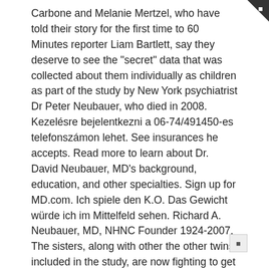Carbone and Melanie Mertzel, who have told their story for the first time to 60 Minutes reporter Liam Bartlett, say they deserve to see the "secret" data that was collected about them individually as children as part of the study by New York psychiatrist Dr Peter Neubauer, who died in 2008. Kezelésre bejelentkezni a 06-74/491450-es telefonszámon lehet. See insurances he accepts. Read more to learn about Dr. David Neubauer, MD's background, education, and other specialties. Sign up for MD.com. Ich spiele den K.O. Das Gewicht würde ich im Mittelfeld sehen. Richard A. Neubauer, MD, NHNC Founder 1924-2007. The sisters, along with other the other twins included in the study, are now fighting to get access to Dr Neubauer's study on their lives. Additional topics discussed include how the study was designed to look at the effects of nature versus nurture, the moral and ethical implications of the research and the film ""Three Identical Strangers," based on the story. Public records indicate that he received $6,318 in payments from medical companies between 2014 and 2018, which is more than a majority (79%) of pulmonologists nationally. in 1.3mm rot auf der Rückhand. Dr. Neubauer is affiliated with The Johns Hopkins Hospital and Johns Hopkins Bayview Medical Center. She has worked in the mental